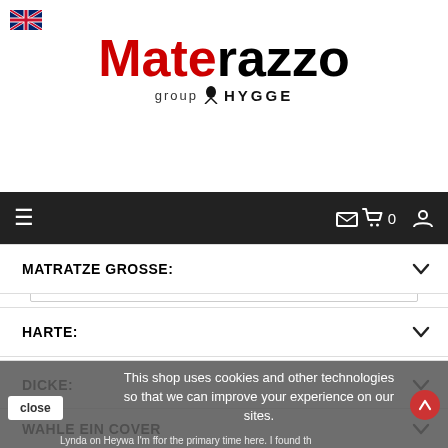[Figure (logo): UK flag icon]
Materazzo group HYGGE
[Figure (screenshot): Search bar with placeholder 'Enter Your Search' and search icon]
Navigation bar with hamburger menu, cart (0), and user icon
MATRATZE GROSSE:
HARTE:
DICKE:
WAHLE EIN COVER
This shop uses cookies and other technologies so that we can improve your experience on our sites.
Lynda on Heywa I'm ffor the primary time here. I found th